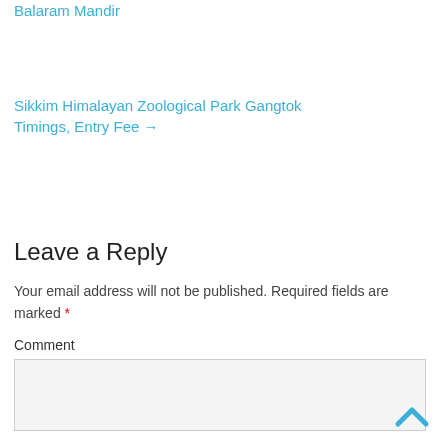Balaram Mandir
Sikkim Himalayan Zoological Park Gangtok Timings, Entry Fee →
Leave a Reply
Your email address will not be published. Required fields are marked *
Comment